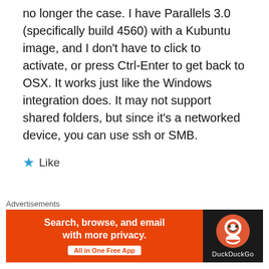no longer the case. I have Parallels 3.0 (specifically build 4560) with a Kubuntu image, and I don't have to click to activate, or press Ctrl-Enter to get back to OSX. It works just like the Windows integration does. It may not support shared folders, but since it's a networked device, you can use ssh or SMB.
★ Like
Joey Gibson
[Figure (photo): Circular avatar photo of a person (Joey Gibson), showing a man's face and upper shoulders.]
Advertisements
[Figure (infographic): DuckDuckGo advertisement banner. Left orange section: 'Search, browse, and email with more privacy. All in One Free App'. Right dark section: DuckDuckGo logo and wordmark.]